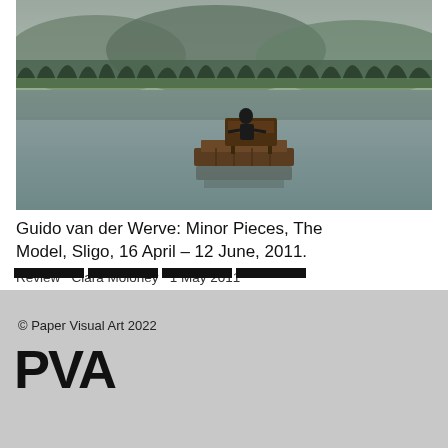[Figure (photo): A person sitting at a piano on a wooden raft floating on a still lake, surrounded by misty forested mountains in the background.]
Guido van der Werve: Minor Pieces, The Model, Sligo, 16 April – 12 June, 2011.
Review   Ciara Moloney   1 May 2011
© Paper Visual Art 2022
PVA